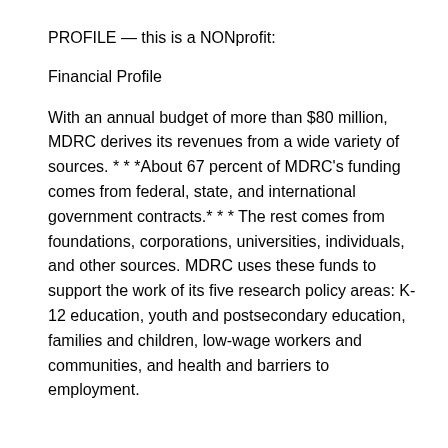PROFILE — this is a NONprofit:
Financial Profile
With an annual budget of more than $80 million, MDRC derives its revenues from a wide variety of sources. * * *About 67 percent of MDRC's funding comes from federal, state, and international government contracts.* * * The rest comes from foundations, corporations, universities, individuals, and other sources. MDRC uses these funds to support the work of its five research policy areas: K-12 education, youth and postsecondary education, families and children, low-wage workers and communities, and health and barriers to employment.